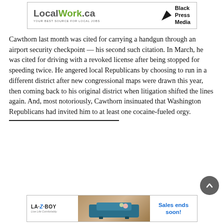[Figure (logo): LocalWork.ca and Black Press Media advertisement banner]
Cawthorn last month was cited for carrying a handgun through an airport security checkpoint — his second such citation. In March, he was cited for driving with a revoked license after being stopped for speeding twice. He angered local Republicans by choosing to run in a different district after new congressional maps were drawn this year, then coming back to his original district when litigation shifted the lines again. And, most notoriously, Cawthorn insinuated that Washington Republicans had invited him to at least one cocaine-fueled orgy.
[Figure (logo): La-Z-Boy advertisement with sofa image and 'Sales ends soon!' text]